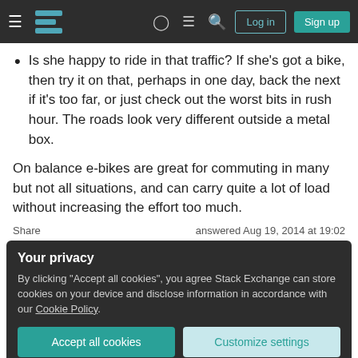Navigation bar with hamburger menu, Stack Exchange logo, help, chat, search icons, Log in and Sign up buttons
Is she happy to ride in that traffic? If she's got a bike, then try it on that, perhaps in one day, back the next if it's too far, or just check out the worst bits in rush hour. The roads look very different outside a metal box.
On balance e-bikes are great for commuting in many but not all situations, and can carry quite a lot of load without increasing the effort too much.
Share    answered Aug 19, 2014 at 19:02
Your privacy
By clicking "Accept all cookies", you agree Stack Exchange can store cookies on your device and disclose information in accordance with our Cookie Policy.
Accept all cookies   Customize settings
4   bike) and limited experience with e-bikes (getting